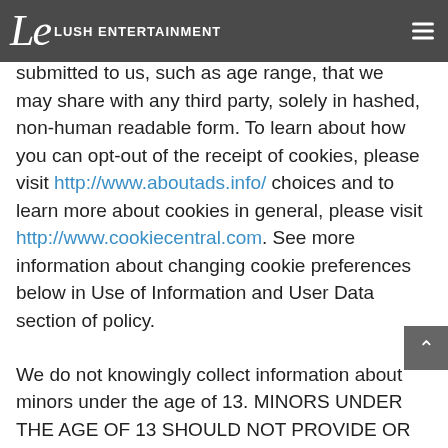LUSH ENTERTAINMENT
may reflect de-identified demographic or other data linked to data you voluntarily have submitted to us, such as age range, that we may share with any third party, solely in hashed, non-human readable form. To learn about how you can opt-out of the receipt of cookies, please visit http://www.aboutads.info/ choices and to learn more about cookies in general, please visit http://www.cookiecentral.com. See more information about changing cookie preferences below in Use of Information and User Data section of policy.

We do not knowingly collect information about minors under the age of 13. MINORS UNDER THE AGE OF 13 SHOULD NOT PROVIDE OR SUBMIT ANY PERSONAL INFORMATION, INCLUDING THEIR EMAIL ADDRESS. TO LUSH